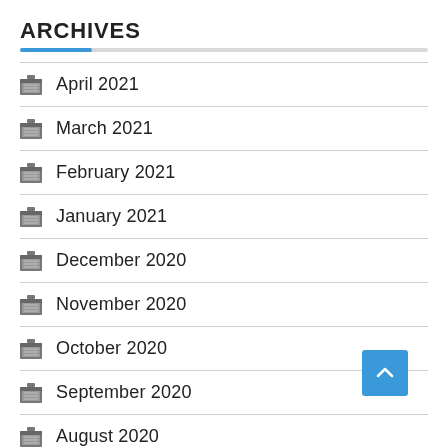ARCHIVES
April 2021
March 2021
February 2021
January 2021
December 2020
November 2020
October 2020
September 2020
August 2020